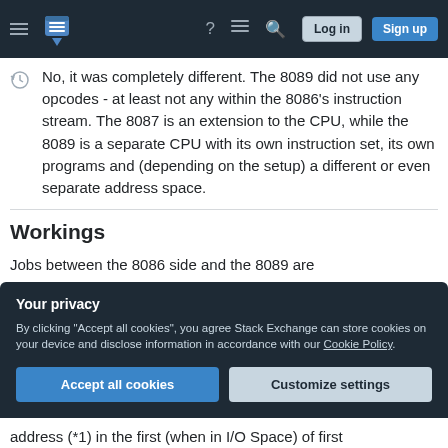Stack Exchange navigation bar with hamburger menu, logo, help, chat, search icons, Log in and Sign up buttons
No, it was completely different. The 8089 did not use any opcodes - at least not any within the 8086's instruction stream. The 8087 is an extension to the CPU, while the 8089 is a separate CPU with its own instruction set, its own programs and (depending on the setup) a different or even separate address space.
Workings
Jobs between the 8086 side and the 8089 are
Your privacy
By clicking "Accept all cookies", you agree Stack Exchange can store cookies on your device and disclose information in accordance with our Cookie Policy.
Accept all cookies
Customize settings
address (*1) in the first (when in I/O Space) of first